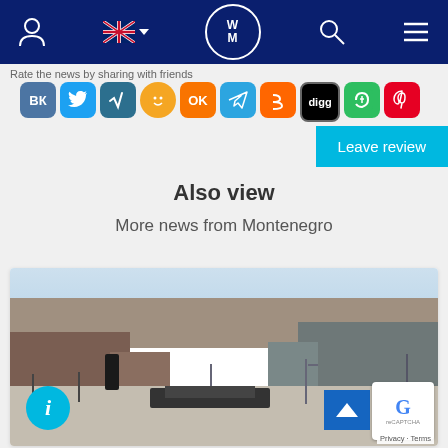WM website navigation bar with user icon, UK flag language selector, WM logo, search icon, and menu icon
Rate the news by sharing with friends
[Figure (screenshot): Social media sharing icons: VK, Twitter, MySpace/pen, Smiley, Odnoklassniki, Telegram, Blogger, Digg, Evernote, Pinterest]
Leave review
Also view
More news from Montenegro
[Figure (photo): City square in Montenegro with buildings, street lamps, paved plaza, bare trees, and a person standing in the foreground. Info button and up-arrow button overlaid. reCAPTCHA widget in corner.]